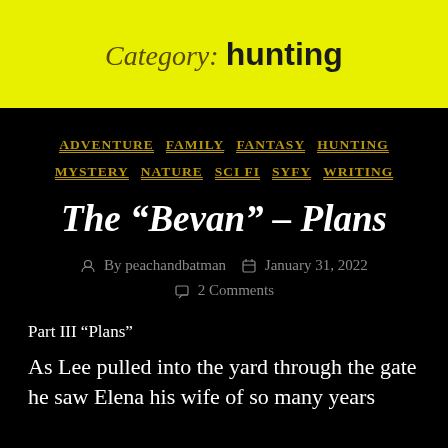Category: hunting
ADVENTURE  FAMILY  FANTASY  HUNTING  MYSTERY  NATURE  SCI FI  SYFY  WRITING
The “Bevan” – Plans
By peachandbatman   January 31, 2022   2 Comments
Part III “Plans”
As Lee pulled into the yard through the gate he saw Elena his wife of so many years